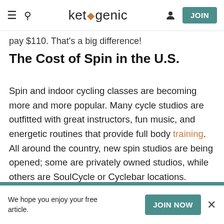ketogenic [navigation bar with hamburger menu, search, logo, user icon, JOIN button]
pay $110. That's a big difference!
The Cost of Spin in the U.S.
Spin and indoor cycling classes are becoming more and more popular. Many cycle studios are outfitted with great instructors, fun music, and energetic routines that provide full body training. All around the country, new spin studios are being opened; some are privately owned studios, while others are SoulCycle or Cyclebar locations.
We hope you enjoy your free article. JOIN NOW ×